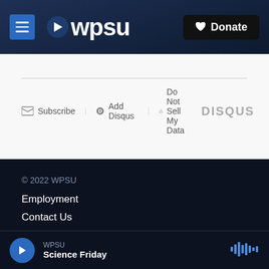WPSU | Donate
Subscribe | Add Disqus | Do Not Sell My Data | DISQUS
© 2022 WPSU
Employment
Contact Us
Staff Resources
WPSU — Science Friday